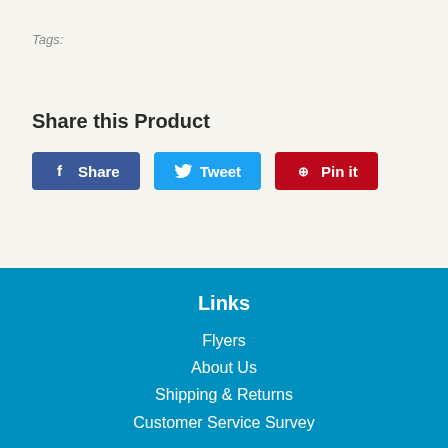Tags:
Share this Product
Share | Tweet | Pin it
Links
Flyers
About Us
Shipping & Returns
Customer Service Survey